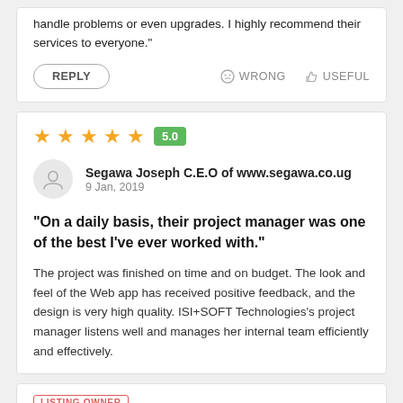handle problems or even upgrades. I highly recommend their services to everyone."
REPLY   WRONG   USEFUL
[Figure (other): Five orange stars rating with green badge showing 5.0]
Segawa Joseph C.E.O of www.segawa.co.ug
9 Jan, 2019
"On a daily basis, their project manager was one of the best I've ever worked with."
The project was finished on time and on budget. The look and feel of the Web app has received positive feedback, and the design is very high quality. ISI+SOFT Technologies's project manager listens well and manages her internal team efficiently and effectively.
LISTING OWNER